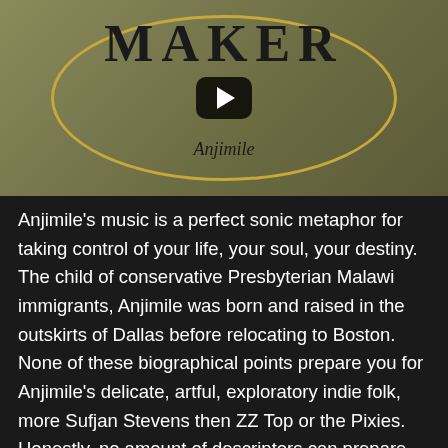[Figure (screenshot): Video thumbnail for Anjimile's 'Maker' album/video. Beige/tan background with ornate oval gold border frame. Large bold text 'MAKER' at top, italic 'Anjimile' at bottom inside oval. Black YouTube-style play button overlay in center.]
Anjimile's music is a perfect sonic metaphor for taking control of your life, your soul, your destiny. The child of conservative Presbyterian Malawi immigrants, Anjimile was born and raised in the outskirts of Dallas before relocating to Boston. None of these biographical points prepare you for Anjimile's delicate, artful, exploratory indie folk, more Sufjan Stevens then ZZ Top or the Pixies. Honestly, no amount of descriptors can prepare you for the unique assemblage of Anjimile's art, where intricate acoustic instruments dance with orchestral